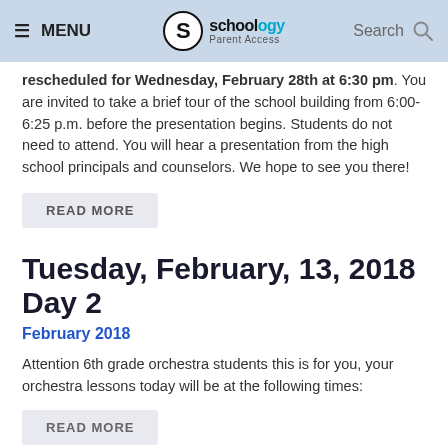MENU | Schoology Parent Access | Search
rescheduled for Wednesday, February 28th at 6:30 pm. You are invited to take a brief tour of the school building from 6:00-6:25 p.m. before the presentation begins. Students do not need to attend. You will hear a presentation from the high school principals and counselors. We hope to see you there!
READ MORE
Tuesday, February, 13, 2018 Day 2
February 2018
Attention 6th grade orchestra students this is for you, your orchestra lessons today will be at the following times:
READ MORE